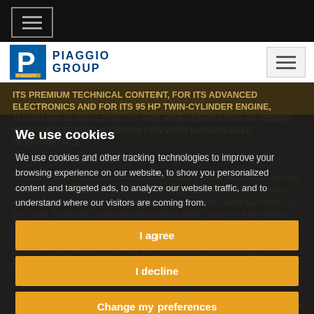[Figure (screenshot): Piaggio Group website screenshot with cookie consent dialog overlay]
Piaggio Group - navigation bar with logo and hamburger menu
ITS PREMIUM TECHNICAL CONTENT, FOR ITS ADVANCED ELECTRONICS AND FOR ITS 95 HP TWIN-CYLINDER ENGINE, TUONO 660 IS DEDICATED TO THE NEW GENERATION OF RIDERS WHO ARE SEEKING MAXIMUM FUN WITH MANAGEABLE PERFORMANCE.
One of the most illustrious families in motorcycling's recent years has come back to the fore. And it bears a well-known and highly respected name by all sport riders, identified as a true thrill generator. It is no common naked sport bike: it is the Tuono. Tuono 660 is the direct descendant of the Tuono V4, from which it has inherited all the qualities that are so popular with the public and critics. For the first time in its illustrious history, the character and values that have made the majestic Tuono V4 famous are now also available in a medium-engine bike, thereby giving a
We use cookies
We use cookies and other tracking technologies to improve your browsing experience on our website, to show you personalized content and targeted ads, to analyze our website traffic, and to understand where our visitors are coming from.
I agree
I decline
Change my preferences
Read more